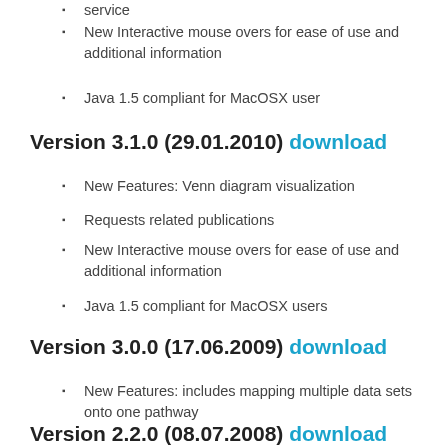service
New Interactive mouse overs for ease of use and additional information
Java 1.5 compliant for MacOSX user
Version 3.1.0 (29.01.2010) download
New Features: Venn diagram visualization
Requests related publications
New Interactive mouse overs for ease of use and additional information
Java 1.5 compliant for MacOSX users
Version 3.0.0 (17.06.2009) download
New Features: includes mapping multiple data sets onto one pathway
New exportable table based displays of mapped data for pathway visualization
Many usability enhancements and the usual bug fixes
Fixed MS Windows Vista Problems
Version 2.2.0 (08.07.2008) download